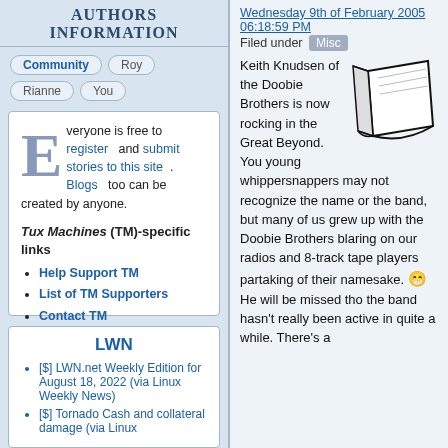Authors Information
Community  Roy  Rianne  You
Everyone is free to register and submit stories to this site. Blogs too can be created by anyone.

Tux Machines (TM)-specific links
Help Support TM
List of TM Supporters
Contact TM
LWN
[$] LWN.net Weekly Edition for August 18, 2022 (via Linux Weekly News)
[$] Tornado Cash and collateral damage (via Linux
Wednesday 9th of February 2005 06:18:59 PM   Filed under Misc
Keith Knudsen of the Doobie Brothers is now rocking in the Great Beyond. You young whippersnappers may not recognize the name or the band, but many of us grew up with the Doobie Brothers blaring on our radios and 8-track tape players partaking of their namesake. 😁 He will be missed tho the band hasn't really been active in quite a while. There's a